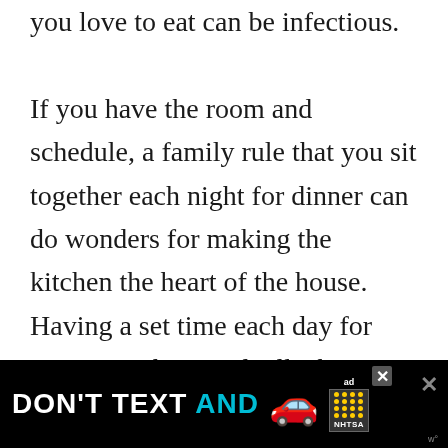you love to eat can be infectious. If you have the room and schedule, a family rule that you sit together each night for dinner can do wonders for making the kitchen the heart of the house. Having a set time each day for you to catch up and talk about your day can help to spend time together b...
[Figure (infographic): Mobile advertisement banner: black background with white text 'DON'T TEXT' and cyan text 'AND' followed by a red car emoji, an 'ad' badge, and NHTSA logo with yellow dots grid. Has close buttons.]